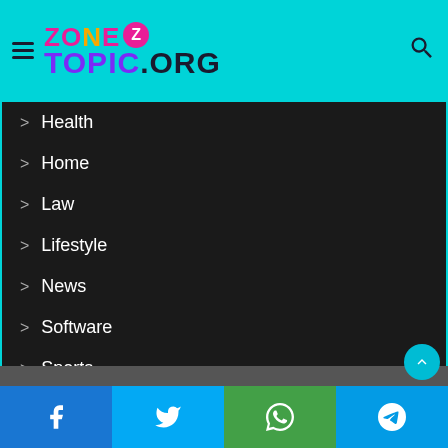ZoneTopic.org
Health
Home
Law
Lifestyle
News
Software
Sports
Technology
Travel